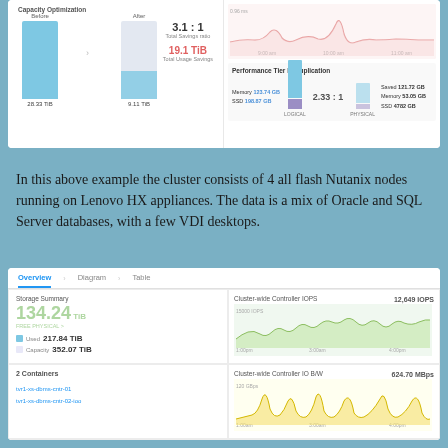[Figure (screenshot): Nutanix dashboard top panel showing Capacity Optimization (Before/After bars: 28.33 TiB before, 9.11 TiB after, 3.1:1 Total Savings ratio, 19.1 TiB Total Usage Savings) and Performance Tier Deduplication panel with line chart and bar chart showing Memory 123.74 GB, SSD 198.87 GB logical, 2.33:1 ratio, physical: Saved 121.72 GB, Memory 53.05 GB, SSD 4782 GB.]
In this above example the cluster consists of 4 all flash Nutanix nodes running on Lenovo HX appliances. The data is a mix of Oracle and SQL Server databases, with a few VDI desktops.
[Figure (screenshot): Nutanix Prism dashboard screenshot showing Overview/Diagram/Table tabs. Storage Summary: 134.24 TiB FREE PHYSICAL, Used 217.84 TiB, Capacity 352.07 TiB. Cluster-wide Controller IOPS: 12,649 IOPS green area chart. 2 Containers: tvr1-xs-dbms-cntr-01, tvr1-xs-dbms-cntr-02-ioo. Cluster-wide Controller IO B/W: 624.70 MBps yellow area chart. Capacity Optimization: Before/After bars, 2.62:1 Total Savings ratio. Cluster-wide Controller Latency pink line chart. SiteLock SECURE badge bottom right.]